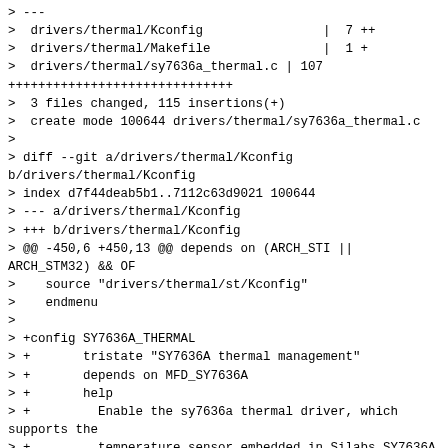> ---
>  drivers/thermal/Kconfig                |  7 ++
>  drivers/thermal/Makefile               |  1 +
>  drivers/thermal/sy7636a_thermal.c | 107
++++++++++++++++++++++++++++++
>  3 files changed, 115 insertions(+)
>  create mode 100644 drivers/thermal/sy7636a_thermal.c
>
> diff --git a/drivers/thermal/Kconfig
b/drivers/thermal/Kconfig
> index d7f44deab5b1..7112c63d9021 100644
> --- a/drivers/thermal/Kconfig
> +++ b/drivers/thermal/Kconfig
> @@ -450,6 +450,13 @@ depends on (ARCH_STI ||
ARCH_STM32) && OF
>    source "drivers/thermal/st/Kconfig"
>    endmenu
>
> +config SY7636A_THERMAL
> +       tristate "SY7636A thermal management"
> +       depends on MFD_SY7636A
> +       help
> +         Enable the sy7636a thermal driver, which
supports the
> +         temperature sensor embedded in Silabs SY7636A
chip.
> +
>   source "drivers/thermal/tegra/Kconfig"
>
>   config GENERIC_ADC_THERMAL